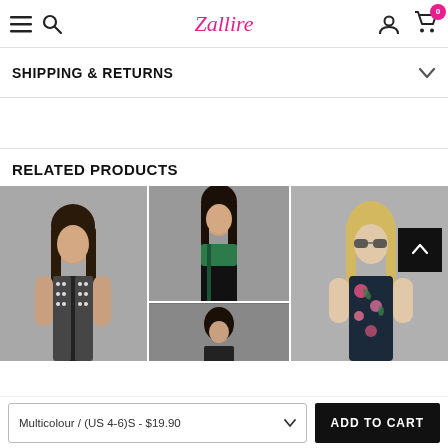Zallire — navigation header with hamburger, search, logo, user account, and cart (0 items)
SHIPPING & RETURNS
RELATED PRODUCTS
[Figure (photo): Three related product photos of women's swimwear/lingerie. Left: black and white studded swimsuit. Center top: green and black babydoll dress. Center bottom: partial dark product thumbnail. Right: floral print swimsuit with sunglasses.]
Multicolour / (US 4-6)S - $19.90
ADD TO CART